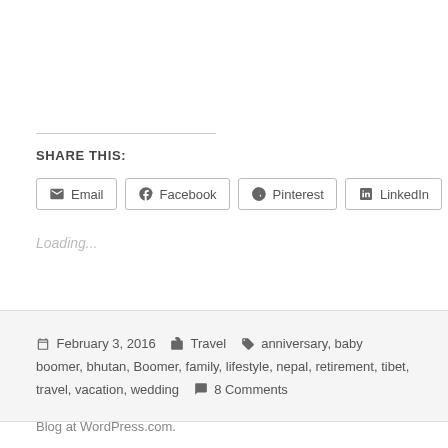SHARE THIS:
Email   Facebook   Pinterest   LinkedIn
Loading...
February 3, 2016   Travel   anniversary, baby boomer, bhutan, Boomer, family, lifestyle, nepal, retirement, tibet, travel, vacation, wedding   8 Comments
Blog at WordPress.com.